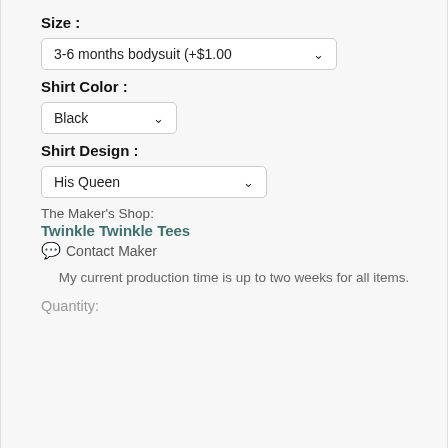Size :
3-6 months bodysuit (+$1.00
Shirt Color :
Black
Shirt Design :
His Queen
The Maker's Shop:
Twinkle Twinkle Tees
Contact Maker
My current production time is up to two weeks for all items.
Quantity: